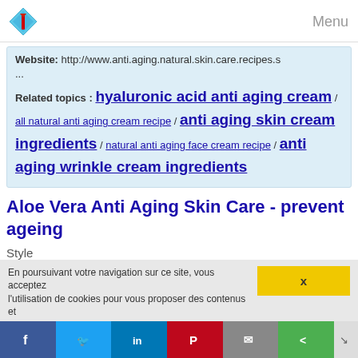Menu
Website: http://www.anti.aging.natural.skin.care.recipes.s ...
Related topics : hyaluronic acid anti aging cream / all natural anti aging cream recipe / anti aging skin cream ingredients / natural anti aging face cream recipe / anti aging wrinkle cream ingredients
Aloe Vera Anti Aging Skin Care - prevent ageing
Style
Discover The 5 Solution to a Wrinkle Free Face - ALL EXPOSED TODAY!
Various sources across the internet have exposed a HUGE celebrity secret to erase wrinkles - without botox or surgery!
How do Hollywood starlets look so radiant and youthful well into thier 40's, 50's, and even 60's? Is it always expensive botox and dangerous plastic surgery? According to various
En poursuivant votre navigation sur ce site, vous acceptez l'utilisation de cookies pour vous proposer des contenus et... x